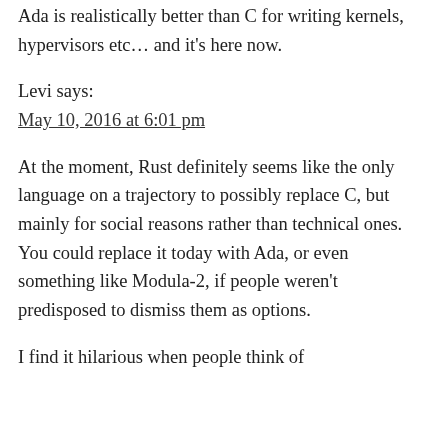Ada is realistically better than C for writing kernels, hypervisors etc… and it's here now.
Levi says:
May 10, 2016 at 6:01 pm
At the moment, Rust definitely seems like the only language on a trajectory to possibly replace C, but mainly for social reasons rather than technical ones. You could replace it today with Ada, or even something like Modula-2, if people weren't predisposed to dismiss them as options.
I find it hilarious when people think of